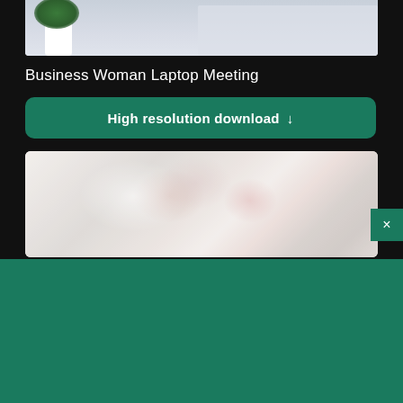[Figure (photo): Partial view of a photo showing a plant and laptop on a desk, cropped at bottom — dark background website UI]
Business Woman Laptop Meeting
High resolution download ↓
[Figure (photo): Blurred image of flowers or floral arrangement with soft pink and white tones]
×
[Figure (logo): Shopify logo — shopping bag icon with 's' and the word 'shopify' in white on green background]
Need an online store for your business?
Start free trial